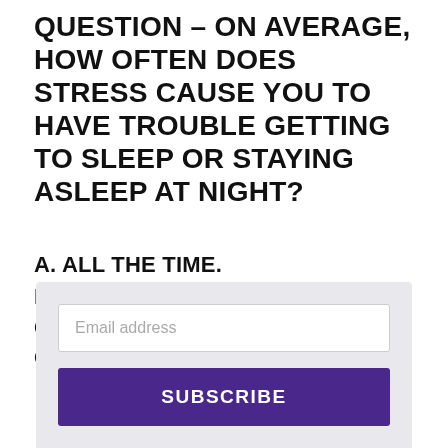QUESTION – ON AVERAGE, HOW OFTEN DOES STRESS CAUSE YOU TO HAVE TROUBLE GETTING TO SLEEP OR STAYING ASLEEP AT NIGHT?
A. ALL THE TIME.
B. SOMETIMES.
C. RARELY—I ALWAYS SLEEP GREAT!
Email address
SUBSCRIBE